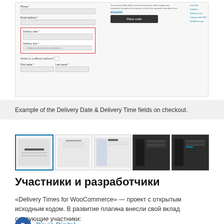[Figure (screenshot): Screenshot of a WooCommerce checkout form showing Delivery Date and Delivery Time fields highlighted with a red border, along with a Place order button and sidebar links.]
Example of the Delivery Date & Delivery Time fields on checkout.
[Figure (screenshot): Five thumbnail screenshots of plugin admin and checkout screens, with the first thumbnail actively selected.]
Участники и разработчики
«Delivery Times for WooCommerce» — проект с открытым исходным кодом. В развитие плагина внесли свой вклад следующие участники:
Devio Digital